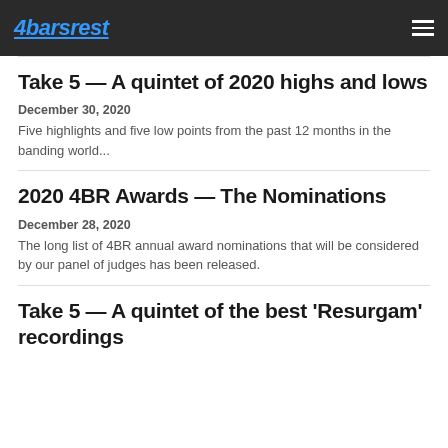4barsrest
Take 5 — A quintet of 2020 highs and lows
December 30, 2020
Five highlights and five low points from the past 12 months in the banding world...
2020 4BR Awards — The Nominations
December 28, 2020
The long list of 4BR annual award nominations that will be considered by our panel of judges has been released.
Take 5 — A quintet of the best 'Resurgam' recordings